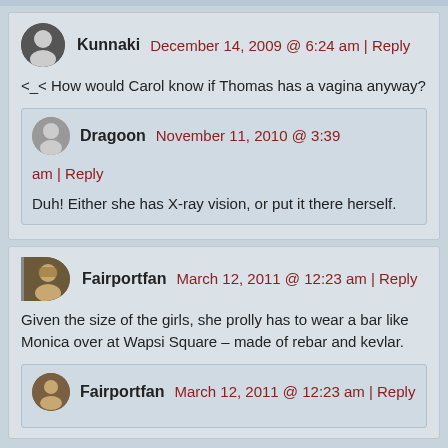Kunnaki  December 14, 2009 @ 6:24 am | Reply
<_< How would Carol know if Thomas has a vagina anyway?
Dragoon  November 11, 2010 @ 3:39 am | Reply
Duh! Either she has X-ray vision, or put it there herself.
Fairportfan  March 12, 2011 @ 12:23 am | Reply
Given the size of the girls, she prolly has to wear a bar like Monica over at Wapsi Square – made of rebar and kevlar.
Fairportfan  March 12, 2011 @ 12:23 am | Reply